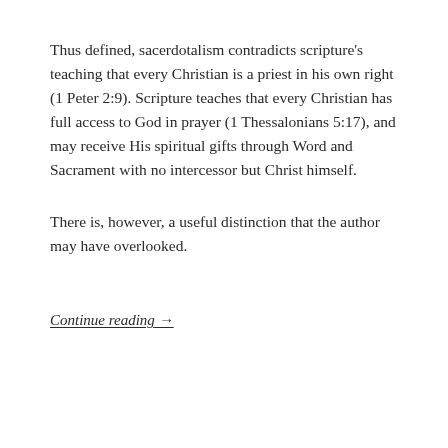Thus defined, sacerdotalism contradicts scripture's teaching that every Christian is a priest in his own right (1 Peter 2:9). Scripture teaches that every Christian has full access to God in prayer (1 Thessalonians 5:17), and may receive His spiritual gifts through Word and Sacrament with no intercessor but Christ himself.
There is, however, a useful distinction that the author may have overlooked.
Continue reading →